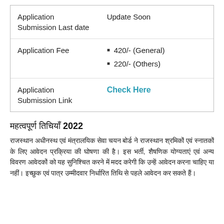| Application Submission Last date | Update Soon |
| Application Fee | 420/- (General)
220/- (Others) |
| Application Submission Link | Check Here |
महत्वपूर्ण तिथियाँ 2022
राजस्थान अधीनस्थ एवं मंत्रालयिक सेवा चयन बोर्ड ने राजस्थान के सभी पात्र उम्मीदवारों के लिए आवेदन प्रक्रिया की घोषणा की है। इस भर्ती, शैक्षणिक योग्यताएं एवं अन्य विवरण आवेदकों को यह सुनिश्चित करने में मदद करेगी कि उन्हें आवेदन करना चाहिए या नहीं। इच्छुक एवं पात्र उम्मीदवार निर्धारित तिथि से पहले आवेदन कर सकते हैं।